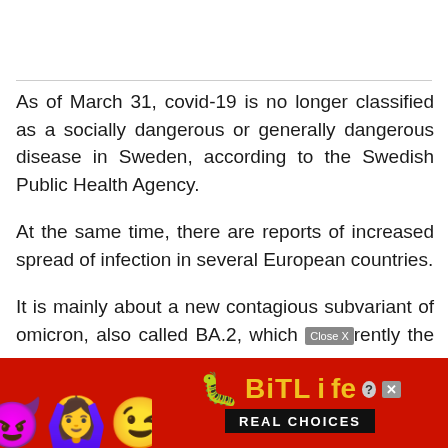As of March 31, covid-19 is no longer classified as a socially dangerous or generally dangerous disease in Sweden, according to the Swedish Public Health Agency.
At the same time, there are reports of increased spread of infection in several European countries.
It is mainly about a new contagious subvariant of omicron, also called BA.2, which [Close X] rently the m...
[Figure (screenshot): BitLife advertisement banner with colorful emojis (devil, woman with hands up, winking face, sperm/tadpole) on red background, BitLife logo in yellow, and 'REAL CHOICES' text in white on black background. A 'Close X' button appears overlaid on the text above.]